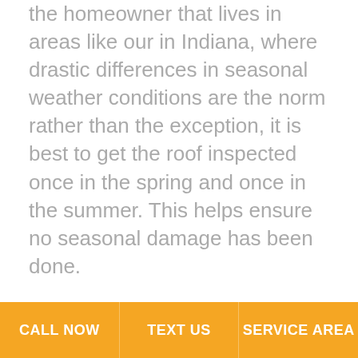the homeowner that lives in areas like our in Indiana, where drastic differences in seasonal weather conditions are the norm rather than the exception, it is best to get the roof inspected once in the spring and once in the summer. This helps ensure no seasonal damage has been done.
Following any storm or event that has led to damage to the roof, call our team of skilled and experienced roofing contractors to come help get your roof back in working order. Small issues are easier and cheaper to deal with, so it is important to take care of issues sooner rather than later and to keep up with regular inspections. With an investment as great as a roof, make sure you are
CALL NOW | TEXT US | SERVICE AREA